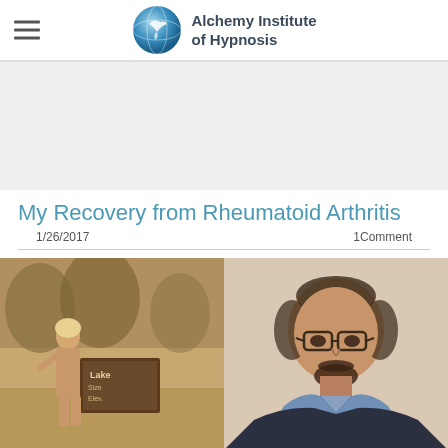Alchemy Institute of Hypnosis
My Recovery from Rheumatoid Arthritis
1/26/2017    1Comment
[Figure (photo): Two side-by-side photos: left is a vintage sepia-toned photo of a woman standing outdoors near a Lake sign; right is a color portrait of a middle-aged bearded man wearing glasses and a dark sweater over a light blue collared shirt.]